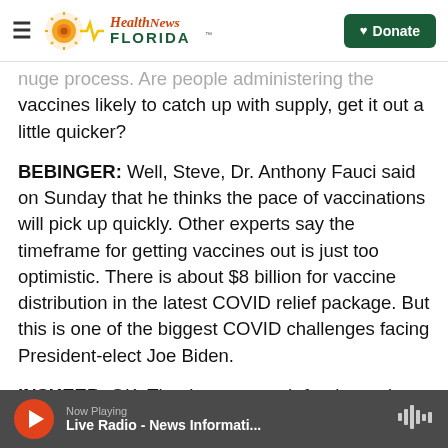Health News Florida — Donate
huge process. Are people administering the vaccines likely to catch up with supply, get it out a little quicker?
BEBINGER: Well, Steve, Dr. Anthony Fauci said on Sunday that he thinks the pace of vaccinations will pick up quickly. Other experts say the timeframe for getting vaccines out is just too optimistic. There is about $8 billion for vaccine distribution in the latest COVID relief package. But this is one of the biggest COVID challenges facing President-elect Joe Biden.
INSKEEP: OK. Thanks very much for the update from across the country. WBUR's Martha Behinger
Now Playing — Live Radio - News Informati...